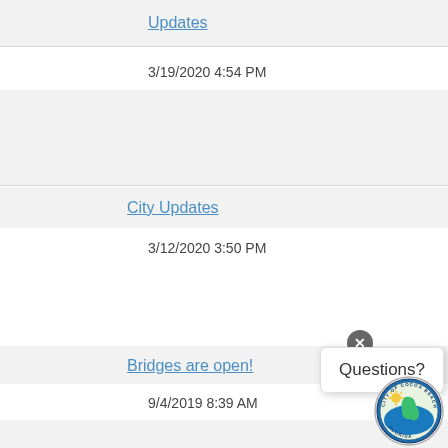Updates
3/19/2020 4:54 PM
City Updates
3/12/2020 3:50 PM
Bridges are open!
9/4/2019 8:39 AM
Questions?